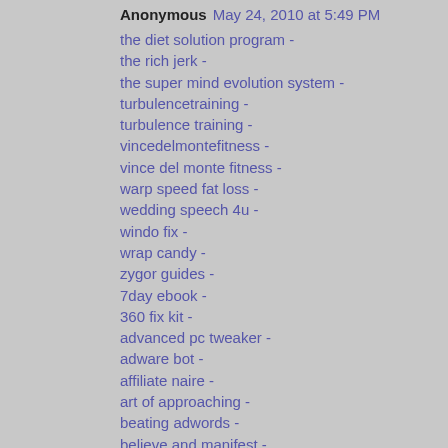Anonymous May 24, 2010 at 5:49 PM
the diet solution program -
the rich jerk -
the super mind evolution system -
turbulencetraining -
turbulence training -
vincedelmontefitness -
vince del monte fitness -
warp speed fat loss -
wedding speech 4u -
windo fix -
wrap candy -
zygor guides -
7day ebook -
360 fix kit -
advanced pc tweaker -
adware bot -
affiliate naire -
art of approaching -
beating adwords -
believe and manifest -
blogging in action -